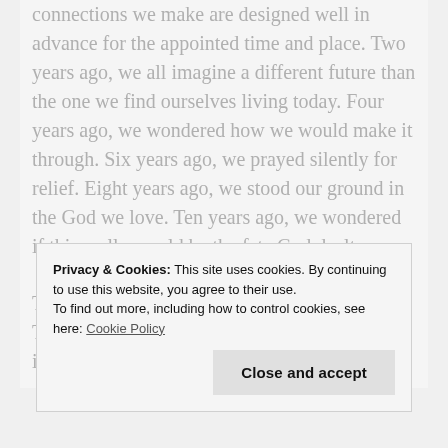connections we make are designed well in advance for the appointed time and place. Two years ago, we all imagine a different future than the one we find ourselves living today. Four years ago, we wondered how we would make it through. Six years ago, we prayed silently for relief. Eight years ago, we stood our ground in the God we love. Ten years ago, we wondered if this really would be the fate God dealt us.
Today, we are stronger. Today, we are wiser. Today, we are becoming exactly who God intended us to be. Today is a new day.
Privacy & Cookies: This site uses cookies. By continuing to use this website, you agree to their use. To find out more, including how to control cookies, see here: Cookie Policy